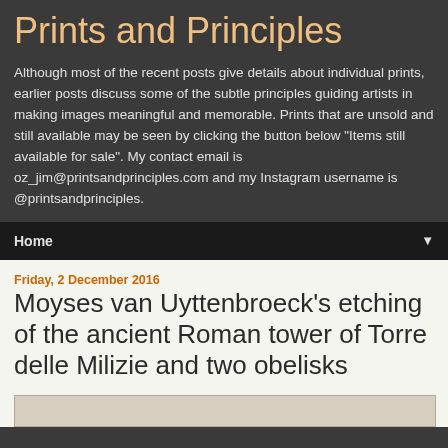Prints and Principles
Although most of the recent posts give details about individual prints, earlier posts discuss some of the subtle principles guiding artists in making images meaningful and memorable. Prints that are unsold and still available may be seen by clicking the button below "Items still available for sale". My contact email is oz_jim@printsandprinciples.com and my Instagram username is @printsandprinciples.
Home
Friday, 2 December 2016
Moyses van Uyttenbroeck’s etching of the ancient Roman tower of Torre delle Milizie and two obelisks
[Figure (photo): Bottom edge of an image strip showing an etching or print]